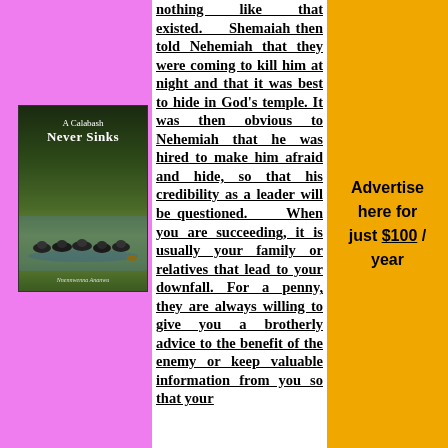[Figure (illustration): Book cover of 'A Calabash Never Sinks' by Nnennwenna Ananwu, showing ducks swimming on water with dark green background]
nothing like that existed. Shemaiah then told Nehemiah that they were coming to kill him at night and that it was best to hide in God's temple. It was then obvious to Nehemiah that he was hired to make him afraid and hide, so that his credibility as a leader will be questioned. When you are succeeding, it is usually your family or relatives that lead to your downfall. For a penny, they are always willing to give you a brotherly advice to the benefit of the enemy or keep valuable information from you so that your
Advertise here for just $100 / year